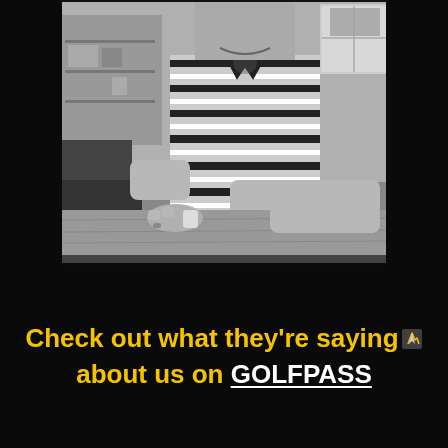[Figure (photo): Black and white photo of a smiling man in a striped polo shirt leaning on a counter or desk, shot from chest up, indoor setting with shelving visible in background.]
Check out what they're saying about us on GOLFPASS